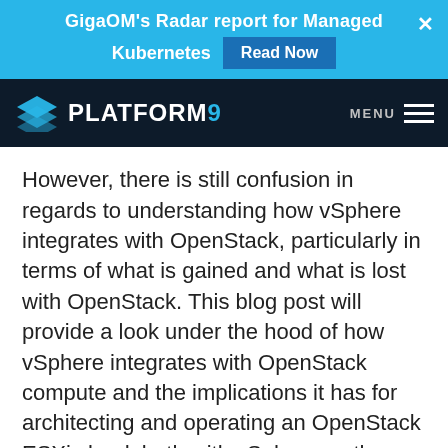GigaOM's Radar report for Managed Kubernetes  Read Now
[Figure (logo): Platform9 logo with diamond/layers icon and text PLATFORM9 on dark navy background, with MENU hamburger icon on right]
However, there is still confusion in regards to understanding how vSphere integrates with OpenStack, particularly in terms of what is gained and what is lost with OpenStack. This blog post will provide a look under the hood of how vSphere integrates with OpenStack compute and the implications it has for architecting and operating an OpenStack ESXi cloud, both with vSphere as the single hypervisor and also in a mixed-mode environment. The way this integration works is exactly the same